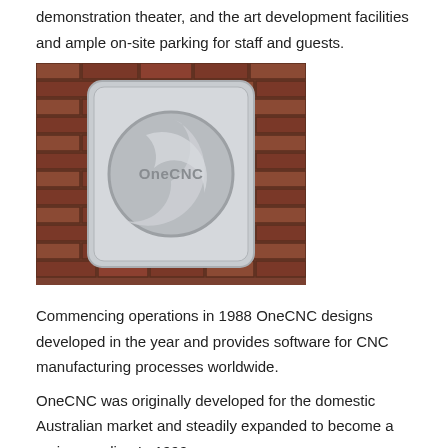demonstration theater, and the art development facilities and ample on-site parking for staff and guests.
[Figure (photo): Photograph of the OneCNC logo mounted on a brick wall — a metallic silver plaque with a rounded square shape containing a stylized circular swoosh design with 'OneCNC' text in the center.]
Commencing operations in 1988 OneCNC designs developed in the year and provides software for CNC manufacturing processes worldwide.
OneCNC was originally developed for the domestic Australian market and steadily expanded to become a major supplier. In 1999,